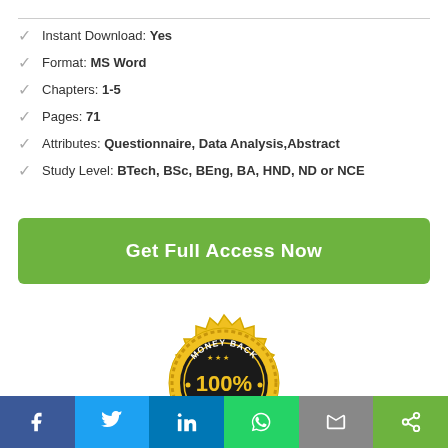Instant Download: Yes
Format: MS Word
Chapters: 1-5
Pages: 71
Attributes: Questionnaire, Data Analysis, Abstract
Study Level: BTech, BSc, BEng, BA, HND, ND or NCE
Get Full Access Now
[Figure (illustration): Money Back Guarantee 100% badge — gold seal with dark circular center, stars, and text reading MONEY BACK GUARANTEE 100%]
Social sharing bar: Facebook, Twitter, LinkedIn, WhatsApp, Email, Share